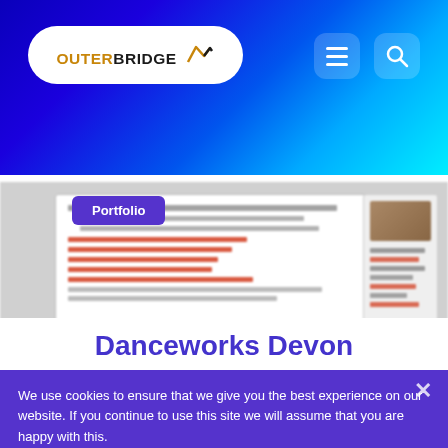[Figure (screenshot): Outerbridge website header with logo pill and nav icons on blue-cyan gradient background]
Portfolio
[Figure (screenshot): Blurred screenshot of Danceworks Devon website showing dance class timetable with red links and sidebar]
Danceworks Devon
We use cookies to ensure that we give you the best experience on our website. If you continue to use this site we will assume that you are happy with this.
OK
Privacy Policy